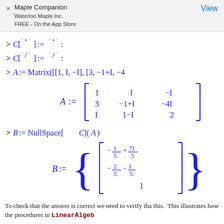Maple Companion
Waterloo Maple Inc.
FREE - On the App Store
To check that the answer is correct we need to verify tha this. This illustrates how the procedures in LinearAlgeb